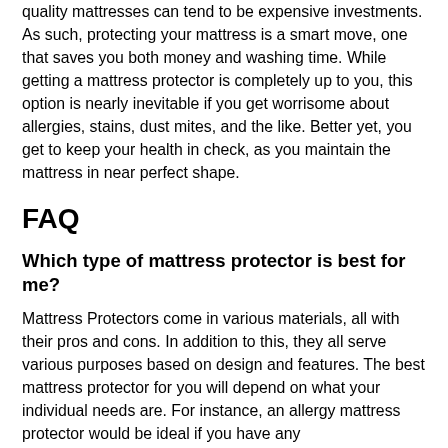quality mattresses can tend to be expensive investments. As such, protecting your mattress is a smart move, one that saves you both money and washing time. While getting a mattress protector is completely up to you, this option is nearly inevitable if you get worrisome about allergies, stains, dust mites, and the like. Better yet, you get to keep your health in check, as you maintain the mattress in near perfect shape.
FAQ
Which type of mattress protector is best for me?
Mattress Protectors come in various materials, all with their pros and cons. In addition to this, they all serve various purposes based on design and features. The best mattress protector for you will depend on what your individual needs are. For instance, an allergy mattress protector would be ideal if you have any